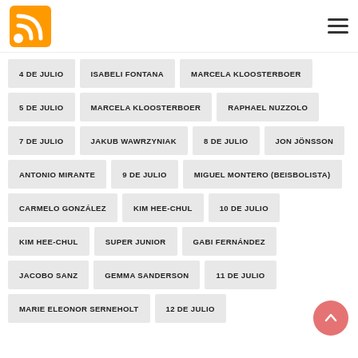RSS feed navigation header
4 DE JULIO
ISABELI FONTANA
MARCELA KLOOSTERBOER
5 DE JULIO
MARCELA KLOOSTERBOER
RAPHAEL NUZZOLO
7 DE JULIO
JAKUB WAWRZYNIAK
8 DE JULIO
JON JÖNSSON
ANTONIO MIRANTE
9 DE JULIO
MIGUEL MONTERO (BEISBOLISTA)
CARMELO GONZÁLEZ
KIM HEE-CHUL
10 DE JULIO
KIM HEE-CHUL
SUPER JUNIOR
GABI FERNÁNDEZ
JACOBO SANZ
GEMMA SANDERSON
11 DE JULIO
MARIE ELEONOR SERNEHOLT
12 DE JULIO